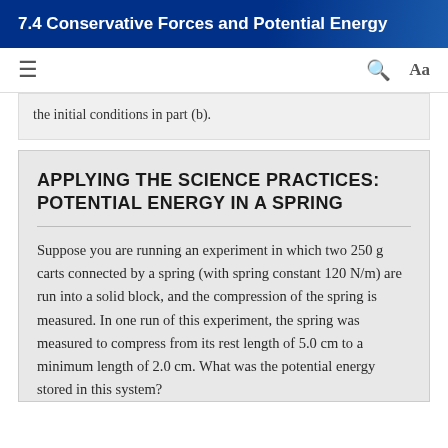7.4 Conservative Forces and Potential Energy
the initial conditions in part (b).
APPLYING THE SCIENCE PRACTICES: POTENTIAL ENERGY IN A SPRING
Suppose you are running an experiment in which two 250 g carts connected by a spring (with spring constant 120 N/m) are run into a solid block, and the compression of the spring is measured. In one run of this experiment, the spring was measured to compress from its rest length of 5.0 cm to a minimum length of 2.0 cm. What was the potential energy stored in this system?